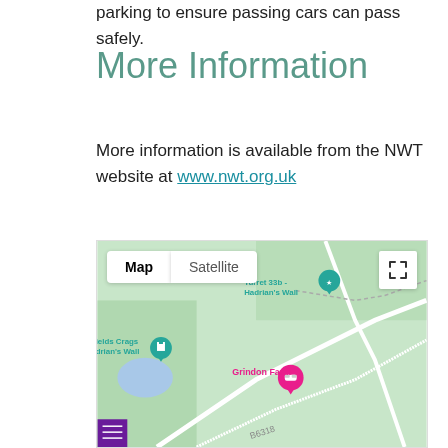parking to ensure passing cars can pass safely.
More Information
More information is available from the NWT website at www.nwt.org.uk
[Figure (map): Google Map screenshot showing area around Hadrian's Wall, including markers for Turret 33b - Hadrian's Wall, Fields Crags Hadrian's Wall, and Grindon Farm. Map/Satellite toggle buttons and expand icon visible. Road B6318 visible.]